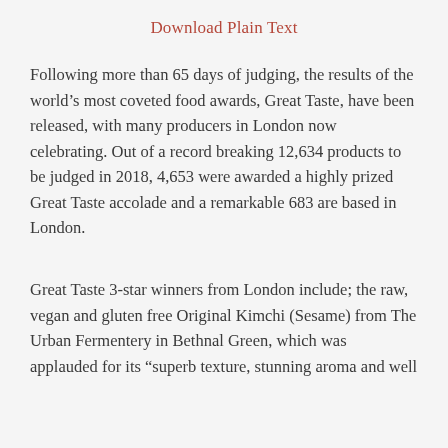Download Plain Text
Following more than 65 days of judging, the results of the world’s most coveted food awards, Great Taste, have been released, with many producers in London now celebrating. Out of a record breaking 12,634 products to be judged in 2018, 4,653 were awarded a highly prized Great Taste accolade and a remarkable 683 are based in London.
Great Taste 3-star winners from London include; the raw, vegan and gluten free Original Kimchi (Sesame) from The Urban Fermentery in Bethnal Green, which was applauded for its “superb texture, stunning aroma and well